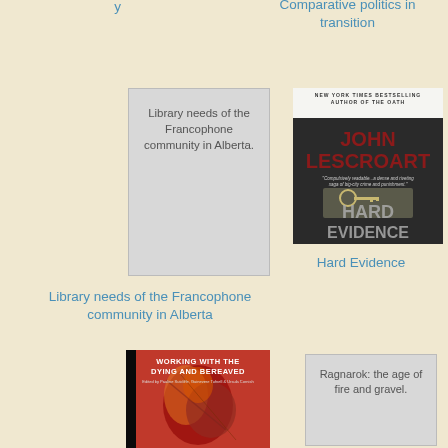Comparative politics in transition
[Figure (illustration): Placeholder book cover for 'Library needs of the Francophone community in Alberta' - grey rectangle with title text]
[Figure (photo): Book cover for 'Hard Evidence' by John Lescroart - thriller novel cover with keys image, dark cover]
Library needs of the Francophone community in Alberta
Hard Evidence
[Figure (photo): Book cover for 'Working with the Dying and Bereaved' edited by Pauline Sutcliffe, Guinevere Tufnell & Ursula Cornish - red/orange abstract art cover, dark spine]
[Figure (illustration): Placeholder book cover for 'Ragnarok: the age of fire and gravel' - grey rectangle with title text]